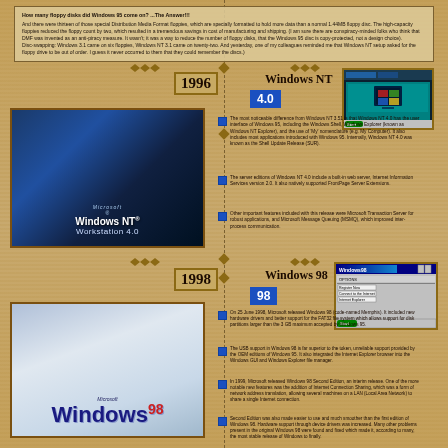How many floppy disks did Windows 95 come on? ...The Answer!!! And there were thirteen of those special Distribution Media Format floppies, which are specially formatted to hold more data than a normal 1.44MB floppy disc. The high-capacity floppies reduced the floppy count by two, which resulted in a tremendous savings in cost of manufacturing and shipping. (I am sure there are conspiracy-minded folks who think that DMF was invented as an anti-piracy measure. It wasn't; it was a way to reduce the number of floppy disks, that the Windows 95 disc is copy-protected, not a design choice). Disc-swapping: Windows 3.1 came on six floppies, Windows NT 3.1 came on twenty-two. And yesterday, one of my colleagues reminded me that Windows NT setup asked for the floppy drive to be out of order. I guess it never occurred to them that they could remember the discs.)
1996 Windows NT 4.0
[Figure (screenshot): Windows NT Workstation 4.0 box art showing the Microsoft Windows NT Workstation logo against a blue gradient background]
[Figure (screenshot): Windows NT 4.0 desktop screenshot thumbnail showing dark teal background with Start button and taskbar]
The most noticeable difference from Windows NT 3.51 is that Windows NT 4.0 has the user interface of Windows 95, including the Windows Shell, Windows Explorer (known as Windows NT Explorer), and the use of 'My' nomenclature (e.g. My Computer). It also includes most applications introduced with Windows 95. Internally, Windows NT 4.0 was known as the Shell Update Release (SUR).
The server editions of Windows NT 4.0 include a built-in web server, Internet Information Services version 2.0. It also natively supported FrontPage Server Extensions.
Other important features included with this release were Microsoft Transaction Server for robust applications, and Microsoft Message Queuing (MSMQ), which improved inter-process communication.
1998 Windows 98
[Figure (screenshot): Microsoft Windows 98 box art showing the Windows 98 logo with colorful Windows flag against light blue gradient]
[Figure (screenshot): Windows 98 desktop screenshot thumbnail showing teal background with Windows 98 taskbar and Start menu]
On 25 June 1998, Microsoft released Windows 98 (code-named Memphis). It included new hardware drivers and better support for the FAT32 file system which allows support for disk partitions larger than the 3 GB maximum accepted by Windows 95.
The USB support in Windows 98 is far superior to the token, unreliable support provided by the OEM editions of Windows 95. It also integrated the Internet Explorer browser into the Windows GUI and Windows Explorer file manager.
In 1999, Microsoft released Windows 98 Second Edition, an interim release. One of the more notable new features was the addition of Internet Connection Sharing, which was a form of network address translation, allowing several machines on a LAN (Local Area Network) to share a single Internet connection.
Second Edition was also made easier to use and much smoother than the first edition of Windows 98. Hardware support through device drivers was increased. Many other problems present in the original Windows 98 were found and fixed which made it, according to many, the most stable release of Windows to finally.